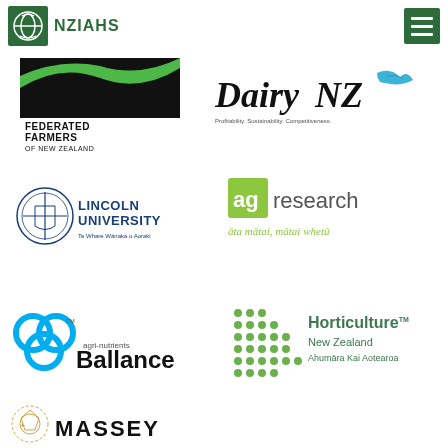[Figure (logo): NZIAHS logo with green circular leaf icon and text NZIAHS in green]
[Figure (logo): Hamburger menu button - three white lines on dark green background]
[Figure (logo): Federated Farmers of New Zealand logo - black block with green swoosh]
[Figure (logo): DairyNZ logo - black italic text DairyNZ with blue-green leaf, tagline: Profitability. Sustainability. Competitiveness.]
[Figure (logo): Lincoln University logo - blue crest and text LINCOLN UNIVERSITY / Te Whare Wānaka o Aoraki]
[Figure (logo): AgResearch logo - green square with ag text and research in grey, subtext: āta mātai, mātai whetū]
[Figure (logo): Ballance agri-nutrients logo - blue interconnected circles and black bold Ballance text]
[Figure (logo): Horticulture New Zealand Ahumāra Kai Aotearoa logo - green dotted pattern and teal-green text]
[Figure (logo): Massey University logo - partially visible at bottom]